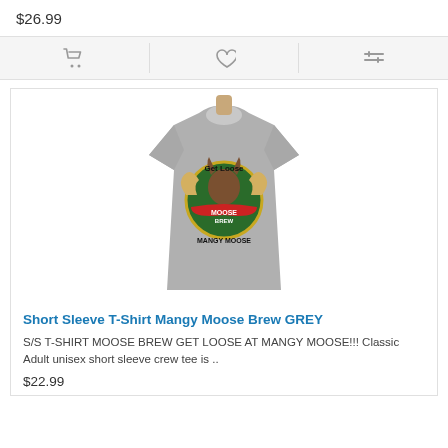$26.99
[Figure (infographic): Icon bar with shopping cart, heart/wishlist, and compare icons on a light grey background]
[Figure (photo): Grey short sleeve t-shirt displayed on a mannequin, showing the back with 'Get Loose' text and Mangy Moose Brew circular logo graphic]
Short Sleeve T-Shirt Mangy Moose Brew GREY
S/S T-SHIRT MOOSE BREW GET LOOSE AT MANGY MOOSE!!! Classic Adult unisex short sleeve crew tee is ..
$22.99